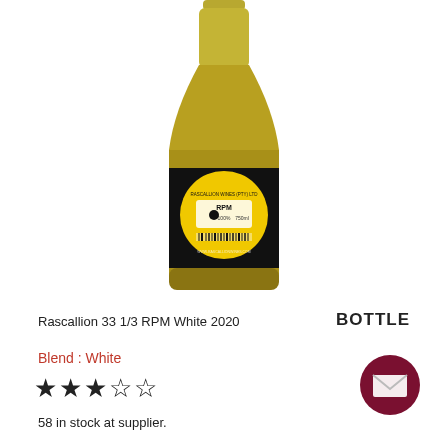[Figure (photo): A wine bottle with a black label featuring a yellow circular record/vinyl-inspired design with 'RPM' text and '750ml' printed on it. The bottle contains white wine and is photographed against a white background.]
Rascallion 33 1/3 RPM White 2020
BOTTLE
Blend : White
★★★☆☆
58 in stock at supplier.
[Figure (illustration): Dark maroon/burgundy circular button with a white envelope/mail icon in the center.]